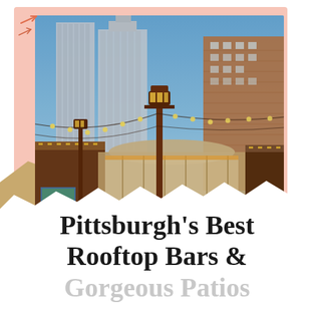[Figure (photo): Outdoor rooftop bar or patio scene in Pittsburgh at dusk. String lights hang overhead between poles. A tall ornate street lamp stands in the center. A large glass-enclosed building structure is visible in the background along with tall city skyscrapers. A crowd of people mingles below the lights.]
Pittsburgh's Best Rooftop Bars & Gorgeous Patios